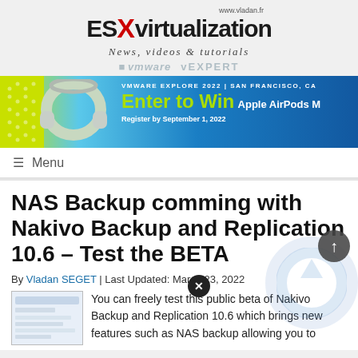[Figure (logo): ESXvirtualization site logo with www.vladan.fr URL, News videos & tutorials tagline, vmware and vEXPERT badges]
[Figure (photo): VMware Explore 2022 San Francisco CA advertisement banner - Enter to Win Apple AirPods Max, Register by September 1, 2022, with headphones image]
≡  Menu
NAS Backup comming with Nakivo Backup and Replication 10.6 – Test the BETA
By Vladan SEGET | Last Updated: March 23, 2022
[Figure (screenshot): Small thumbnail screenshot of Nakivo interface]
You can freely test this public beta of Nakivo Backup and Replication 10.6 which brings new features such as NAS backup allowing you to